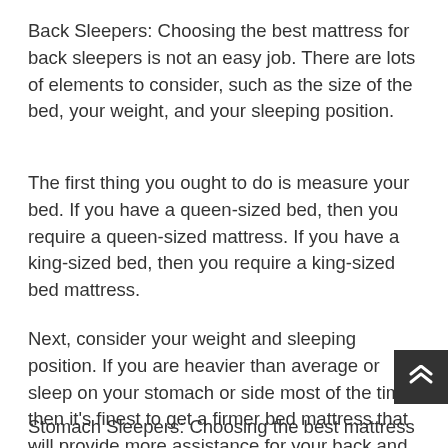Back Sleepers: Choosing the best mattress for back sleepers is not an easy job. There are lots of elements to consider, such as the size of the bed, your weight, and your sleeping position.
The first thing you ought to do is measure your bed. If you have a queen-sized bed, then you require a queen-sized mattress. If you have a king-sized bed, then you require a king-sized bed mattress.
Next, consider your weight and sleeping position. If you are heavier than average or sleep on your stomach or side most of the time, then it's finest to get a firmer bed mattress that will provide more assistance for your back and spinal column.
Stomach Sleepers: Choosing the best mattress for